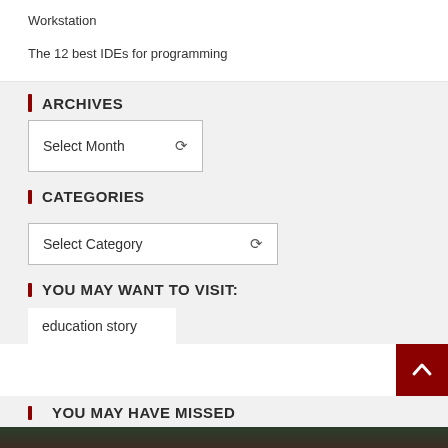Workstation
The 12 best IDEs for programming
ARCHIVES
[Figure (other): A dropdown select input labeled 'Select Month' with a chevron arrow]
CATEGORIES
[Figure (other): A wider dropdown select input labeled 'Select Category' with a chevron arrow]
YOU MAY WANT TO VISIT:
education story
[Figure (other): Dark red square button with a white upward chevron arrow for scrolling to top]
YOU MAY HAVE MISSED
[Figure (photo): Partial bottom image, dark green/red tones, cropped at bottom of page]